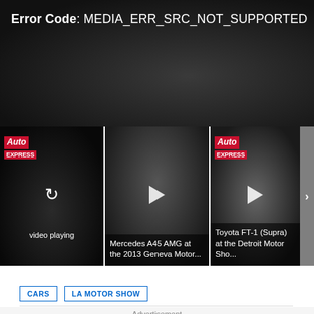[Figure (screenshot): Video player showing error message: Error Code: MEDIA_ERR_SRC_NOT_SUPPORTED on dark background]
[Figure (screenshot): Video thumbnail strip showing three video thumbnails: (1) Auto Express logo with car, video playing indicator; (2) Mercedes A45 AMG at the 2013 Geneva Motor...; (3) Toyota FT-1 (Supra) at the Detroit Motor Sho... with navigation arrow on right]
CARS   LA MOTOR SHOW
[Figure (screenshot): Social share buttons: Twitter bird icon, Facebook f icon, Email envelope icon]
Advertisement
[Figure (screenshot): Advertisement banner: Download Helbiz and ride]